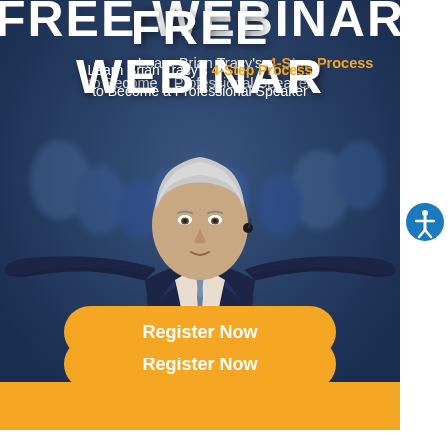FREE WEBINAR
Learn Brian Tracy's 4-Step Process to Become a Professional Speaker
[Figure (photo): Brian Tracy, a silver-haired man in a dark suit and tie, standing on stage with arms outstretched wide, wearing a headset microphone, crowd visible in background]
Register Now